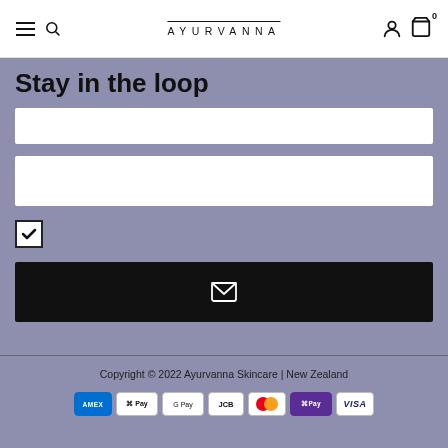AYURVANNA — navigation header with menu, search, account, and cart icons
Stay in the loop
[Figure (other): Email input text field (empty)]
[Figure (other): Name input text field (empty)]
[Figure (other): Checked checkbox]
[Figure (other): Black subscribe button with envelope/email icon]
Copyright © 2022 Ayurvanna Skincare | New Zealand
[Figure (other): Payment method icons: American Express, Apple Pay, Google Pay, JCB, Mastercard, ShopPay, Visa]